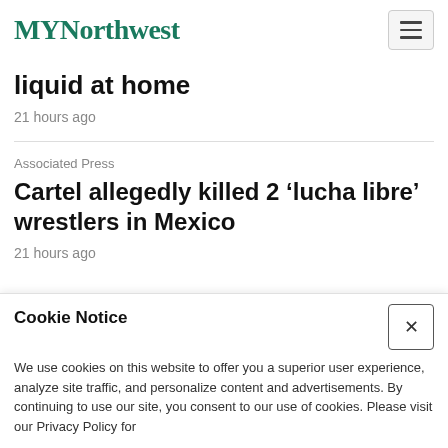MYNorthwest
liquid at home
21 hours ago
Associated Press
Cartel allegedly killed 2 ‘lucha libre’ wrestlers in Mexico
21 hours ago
Cookie Notice
We use cookies on this website to offer you a superior user experience, analyze site traffic, and personalize content and advertisements. By continuing to use our site, you consent to our use of cookies. Please visit our Privacy Policy for...